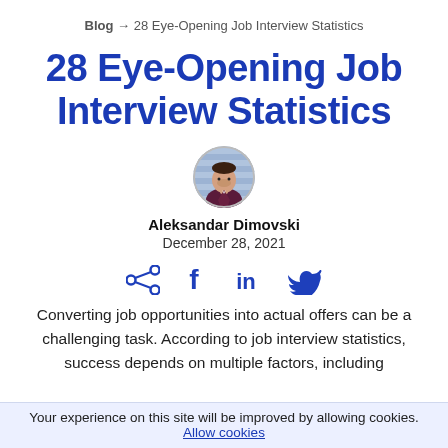Blog → 28 Eye-Opening Job Interview Statistics
28 Eye-Opening Job Interview Statistics
[Figure (photo): Circular portrait photo of Aleksandar Dimovski, a man wearing a dark suit, smiling, with a striped background]
Aleksandar Dimovski
December 28, 2021
[Figure (infographic): Social sharing icons: share, Facebook f, LinkedIn in, Twitter bird — all in dark blue]
Converting job opportunities into actual offers can be a challenging task. According to job interview statistics, success depends on multiple factors, including
Your experience on this site will be improved by allowing cookies. Allow cookies